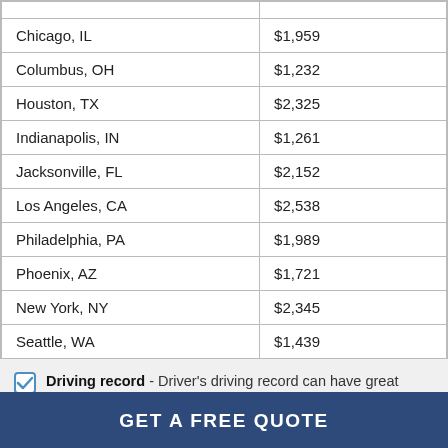| City | Rate |
| --- | --- |
| Chicago, IL | $1,959 |
| Columbus, OH | $1,232 |
| Houston, TX | $2,325 |
| Indianapolis, IN | $1,261 |
| Jacksonville, FL | $2,152 |
| Los Angeles, CA | $2,538 |
| Philadelphia, PA | $1,989 |
| Phoenix, AZ | $1,721 |
| New York, NY | $2,345 |
| Seattle, WA | $1,439 |
Driving record - Driver's driving record can have great bearing on Chevy Silverado insurance rates. Accordingly, teen and young drivers under 25 will pay the highest cost as they are most likely to have traffic
GET A FREE QUOTE